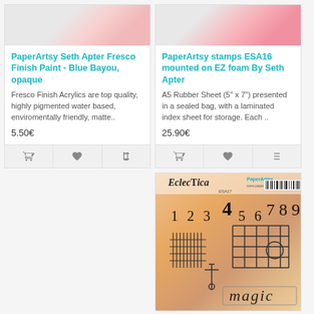PaperArtsy Seth Apter Fresco Finish Paint - Blue Bayou, opaque
Fresco Finish Acrylics are top quality, highly pigmented water based, enviromentally friendly, matte..
5.50€
PaperArtsy stamps ESA16 mounted on EZ foam By Seth Apter
A5 Rubber Sheet (5" x 7") presented in a sealed bag, with a laminated index sheet for storage. Each ..
25.90€
[Figure (photo): Product image of PaperArtsy stamps ESA16 - Eclectica stamp sheet showing numbers 123456789 and various stamp motifs including grid, lines, and 'magic' text on a colorful background]